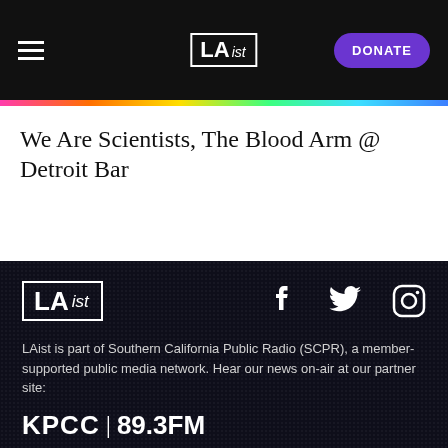LAist | DONATE
We Are Scientists, The Blood Arm @ Detroit Bar
[Figure (logo): LAist footer logo with Facebook, Twitter, and Instagram social media icons]
LAist is part of Southern California Public Radio (SCPR), a member-supported public media network. Hear our news on-air at our partner site:
[Figure (logo): KPCC | 89.3FM logo in white text on dark background]